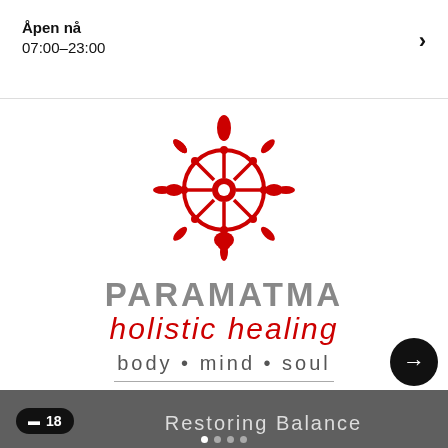Åpen nå
07:00–23:00
[Figure (logo): Paramatma holistic healing logo: red dharma wheel / Buddhist wheel of life symbol above the stylized brand name PARAMATMA in grey, with 'holistic healing' in red italic below, then 'body • mind • soul' in grey, a horizontal divider line, and 'Restoring Balance' partially visible at bottom]
🖼 18   Restoring  Balance